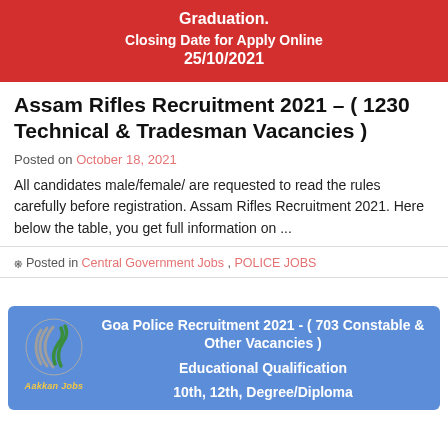Graduation.
Closing Date for Apply Online
25/10/2021
Assam Rifles Recruitment 2021 – ( 1230 Technical & Tradesman Vacancies )
Posted on October 18, 2021
All candidates male/female/ are requested to read the rules carefully before registration. Assam Rifles Recruitment 2021. Here below the table, you get full information on ...
Posted in Central Government Jobs , POLICE JOBS
Goa Police Recruitment 2021 - ( 703 Constable & Other Vacancies )
Educational Qualification
10th, 12th, Degree/Diploma